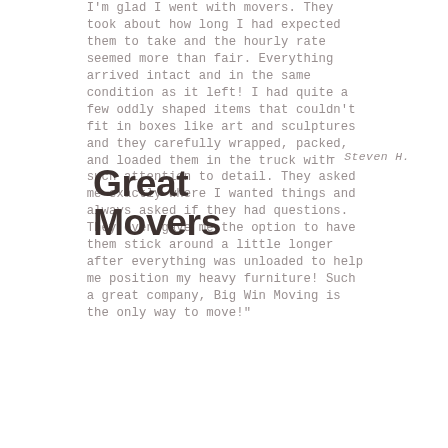I'm glad I went with movers. They took about how long I had expected them to take and the hourly rate seemed more than fair. Everything arrived intact and in the same condition as it left! I had quite a few oddly shaped items that couldn't fit in boxes like art and sculptures and they carefully wrapped, packed, and loaded them in the truck with such attention to detail. They asked me exactly where I wanted things and always asked if they had questions. They even gave me the option to have them stick around a little longer after everything was unloaded to help me position my heavy furniture! Such a great company, Big Win Moving is the only way to move!"
- Steven H.
Great Movers